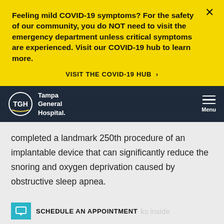Feeling mild COVID-19 symptoms? For the safety of our community, you do NOT need to visit the emergency department unless critical symptoms are experienced. Visit our COVID-19 hub to learn more.
VISIT THE COVID-19 HUB >
[Figure (logo): Tampa General Hospital logo with TGH text in a circle and 'Tampa General Hospital.' text]
completed a landmark 250th procedure of an implantable device that can significantly reduce the snoring and oxygen deprivation caused by obstructive sleep apnea.
SCHEDULE AN APPOINTMENT
The min ks inside one's body, utili es a re ati ...